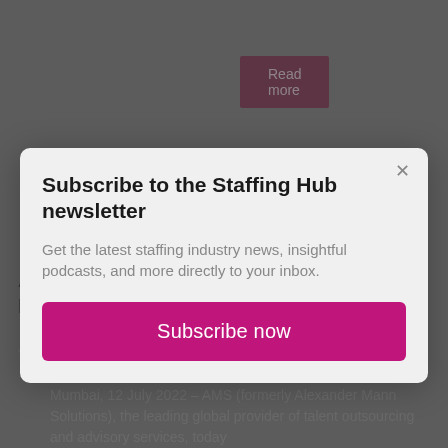Read more
Subscribe to the Staffing Hub newsletter
Get the latest staffing industry news, insightful podcasts, and more directly to your inbox.
Subscribe now
AMS Strengthens Position in India With FlexAbility Acquisition
July 20, 2022
Mumbai, 12 July 2022 – AMS (formerly Alexander Mann Solutions), the leading global provider of talent outsourcing and advisory services, today